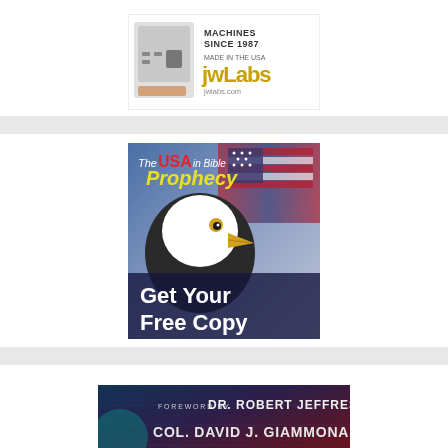[Figure (illustration): JW Labs advertisement showing a handheld device/machine with text 'MACHINES SINCE 1987', 'MADE IN THE USA', 'jwLabs', 'jwlabs.com']
[Figure (illustration): Book advertisement for 'The USA in Bible Prophecy' featuring a bald eagle and American flag with text 'Get Your Free Copy']
[Figure (illustration): Book advertisement with dark background showing 'FOREWORD BY DR. ROBERT JEFFRESS' and 'COL. DAVID J. GIAMMONA']